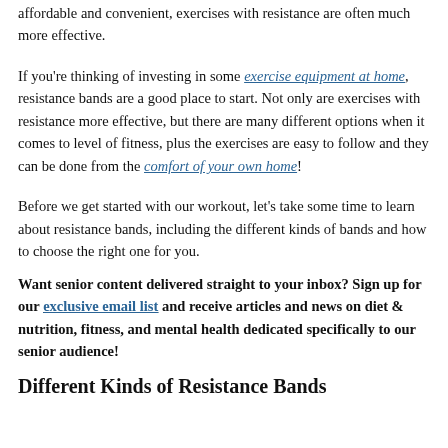affordable and convenient, exercises with resistance are often much more effective.
If you’re thinking of investing in some exercise equipment at home, resistance bands are a good place to start. Not only are exercises with resistance more effective, but there are many different options when it comes to level of fitness, plus the exercises are easy to follow and they can be done from the comfort of your own home!
Before we get started with our workout, let’s take some time to learn about resistance bands, including the different kinds of bands and how to choose the right one for you.
Want senior content delivered straight to your inbox? Sign up for our exclusive email list and receive articles and news on diet & nutrition, fitness, and mental health dedicated specifically to our senior audience!
Different Kinds of Resistance Bands